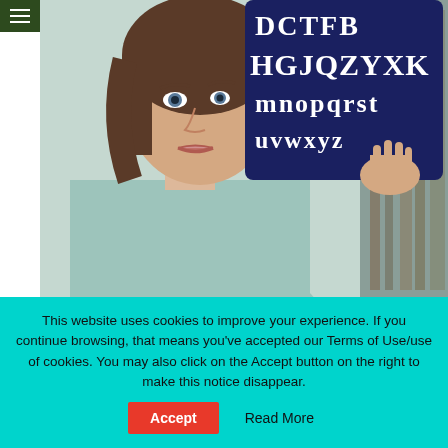[Figure (photo): A woman holding up a dark board with large white letters (H G J Q Z Y X K and partial letters above), looking at the board. She is wearing a light blue shirt. Background shows a bookshelf or similar environment.]
Golden Globe Awards: Non-English-Language Non-Ceremony Surprises
Golden Globe Awards: Non-English-Language non-ceremony shockers as less commercial non-
This website uses cookies to improve your experience. If you continue browsing, that means you've accepted our Terms of Use/use of cookies. You may also click on the Accept button on the right to make this notice disappear.